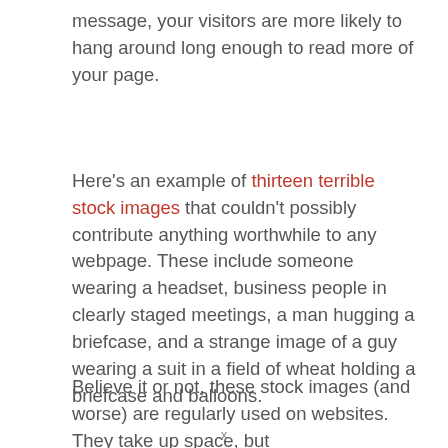message, your visitors are more likely to hang around long enough to read more of your page.
Here's an example of thirteen terrible stock images that couldn't possibly contribute anything worthwhile to any webpage. These include someone wearing a headset, business people in clearly staged meetings, a man hugging a briefcase, and a strange image of a guy wearing a suit in a field of wheat holding a briefcase and balloons.
Believe it or not, these stock images (and worse) are regularly used on websites. They take up space, but
x